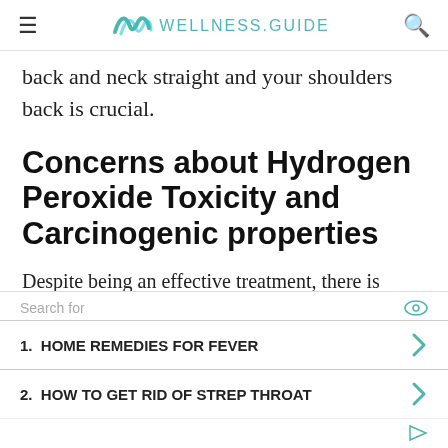WELLNESS.GUIDE
back and neck straight and your shoulders back is crucial.
Concerns about Hydrogen Peroxide Toxicity and Carcinogenic properties
Despite being an effective treatment, there is some concern about safety in the long term. Using hydrogen peroxide only when absolutely
[Figure (infographic): Advertisement overlay with search bar, two list items: 1. HOME REMEDIES FOR FEVER, 2. HOW TO GET RID OF STREP THROAT, with teal arrow icons]